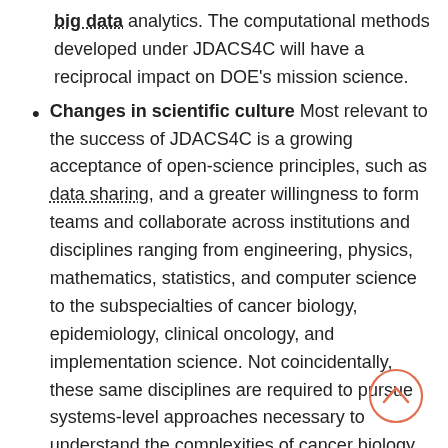big data analytics. The computational methods developed under JDACS4C will have a reciprocal impact on DOE's mission science.
Changes in scientific culture Most relevant to the success of JDACS4C is a growing acceptance of open-science principles, such as data sharing, and a greater willingness to form teams and collaborate across institutions and disciplines ranging from engineering, physics, mathematics, statistics, and computer science to the subspecialties of cancer biology, epidemiology, clinical oncology, and implementation science. Not coincidentally, these same disciplines are required to pursue systems-level approaches necessary to understand the complexities of cancer biology.